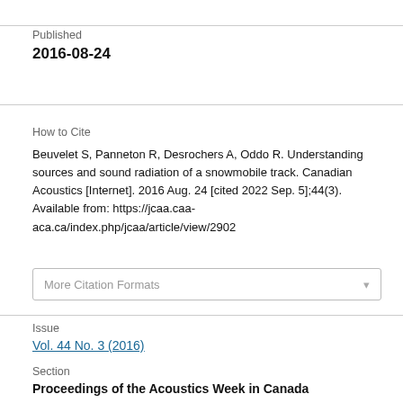Published
2016-08-24
How to Cite
Beuvelet S, Panneton R, Desrochers A, Oddo R. Understanding sources and sound radiation of a snowmobile track. Canadian Acoustics [Internet]. 2016 Aug. 24 [cited 2022 Sep. 5];44(3). Available from: https://jcaa.caa-aca.ca/index.php/jcaa/article/view/2902
More Citation Formats
Issue
Vol. 44 No. 3 (2016)
Section
Proceedings of the Acoustics Week in Canada